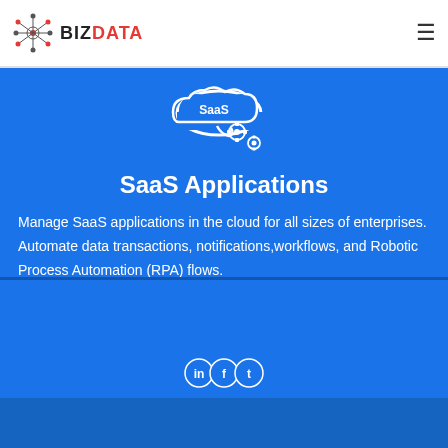BIZDATA
[Figure (illustration): SaaS cloud icon with gear symbols on blue background]
SaaS Applications
Manage SaaS applications in the cloud for all sizes of enterprises. Automate data transactions, notifications,workflows, and Robotic Process Automation (RPA) flows.